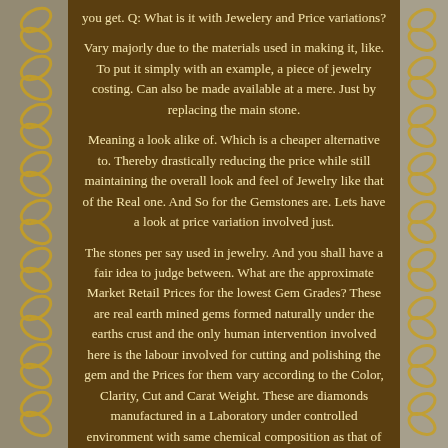you get. Q: What is it with Jewelery and Price variations?
Vary majorly due to the materials used in making it, like. To put it simply with an example, a piece of jewelry costing. Can also be made available at a mere. Just by replacing the main stone.
Meaning a look alike of. Which is a cheaper alternative to. Thereby drastically reducing the price while still maintaining the overall look and feel of Jewelry like that of the Real one. And So for the Gemstones are. Lets have a look at price variation involved just.
The stones per say used in jewelry. And you shall have a fair idea to judge between. What are the approximate Market Retail Prices for the lowest Gem Grades? These are real earth mined gems formed naturally under the earths crust and the only human intervention involved here is the labour involved for cutting and polishing the gem and the Prices for them vary according to the Color, Clarity, Cut and Carat Weight. These are diamonds manufactured in a Laboratory under controlled environment with same chemical composition as that of natural earth mined diamonds and are often referred in trade as. While these are